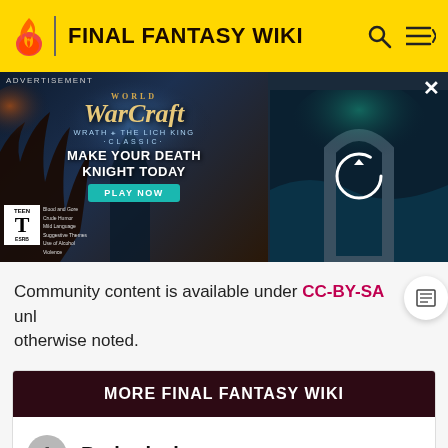FINAL FANTASY WIKI
[Figure (screenshot): World of Warcraft: Wrath of the Lich King Classic advertisement banner with ESRB Teen rating, 'Make Your Death Knight Today' tagline and 'Play Now' button, plus a secondary loading image panel on the right]
Community content is available under CC-BY-SA unless otherwise noted.
MORE FINAL FANTASY WIKI
1 Barbariccia